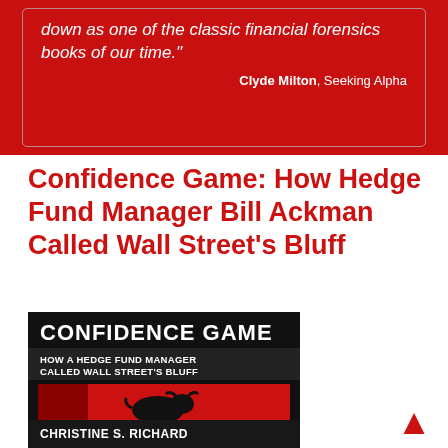down as one of the classic financial forensics books of our time."
Clyde Milton, Seeking Alpha
Confidence Game: How Hedge Fund Manager Bill Ackman Called Wall Street's Bluff
[Figure (illustration): Book cover for 'Confidence Game: How a Hedge Fund Manager Called Wall Street's Bluff' by Christine S. Richard. Black background with large white bold title text, red subheading band with a black bull silhouette on a red/black gradient background, and author name at the bottom in white on black.]